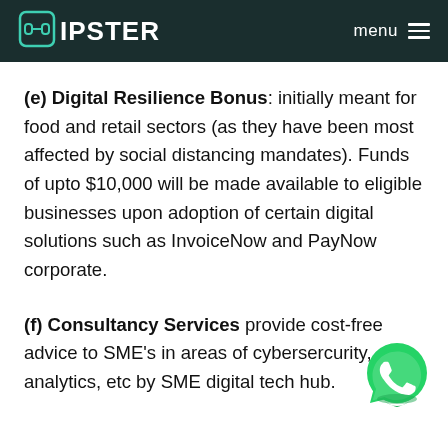HIPSTER  menu
(e) Digital Resilience Bonus: initially meant for food and retail sectors (as they have been most affected by social distancing mandates). Funds of upto $10,000 will be made available to eligible businesses upon adoption of certain digital solutions such as InvoiceNow and PayNow corporate.
(f) Consultancy Services provide cost-free advice to SME's in areas of cybersercurity, data analytics, etc by SME digital tech hub.